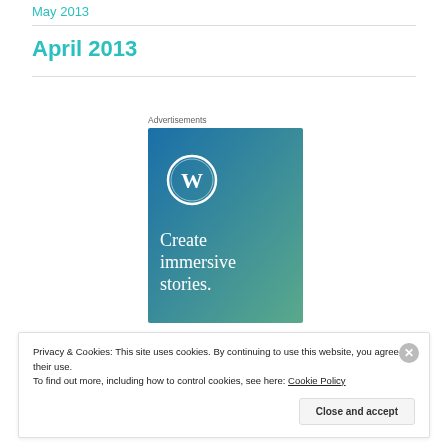May 2013
April 2013
[Figure (illustration): WordPress advertisement banner with blue-to-teal gradient background, WordPress logo (white circle with W), and text 'Create immersive stories.']
Advertisements
Privacy & Cookies: This site uses cookies. By continuing to use this website, you agree to their use. To find out more, including how to control cookies, see here: Cookie Policy
Close and accept